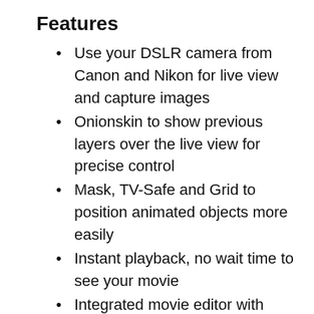Features
Use your DSLR camera from Canon and Nikon for live view and capture images
Onionskin to show previous layers over the live view for precise control
Mask, TV-Safe and Grid to position animated objects more easily
Instant playback, no wait time to see your movie
Integrated movie editor with frame-by-frame preview
Zoom in and out on the timeline view so you never get lost, even if you have hundreds of frames
Cut, copy, paste, delete and insert frames at any position